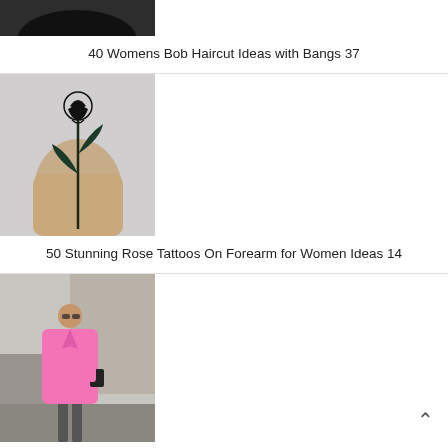[Figure (photo): Partial top of a woman with black clothing and bob haircut]
40 Womens Bob Haircut Ideas with Bangs 37
[Figure (photo): Close-up of a forearm with a black and dark blue rose tattoo]
50 Stunning Rose Tattoos On Forearm for Women Ideas 14
[Figure (photo): Woman wearing a long pink coat and pink dress on a city street]
50 Stylish and Comfy Winter Dresses Ideas 49